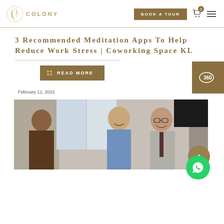COLONY | BOOK A TOUR
3 Recommended Meditation Apps To Help Reduce Work Stress | Coworking Space KL
READ MORE
February 11, 2022
[Figure (photo): Group of business professionals smiling and talking in an office setting]